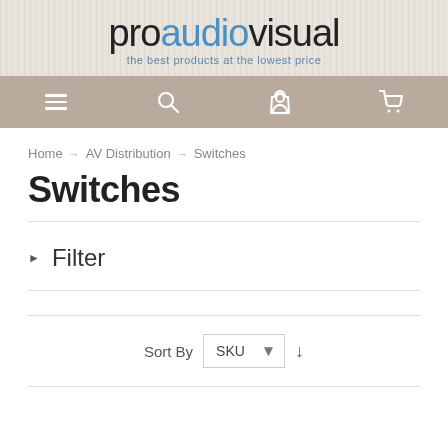proaudiovisual - the best products at the lowest price
[Figure (screenshot): Navigation bar with hamburger menu, search, user account, and cart icons on a tan/beige background]
Home → AV Distribution → Switches
Switches
▶ Filter
Sort By SKU ↓